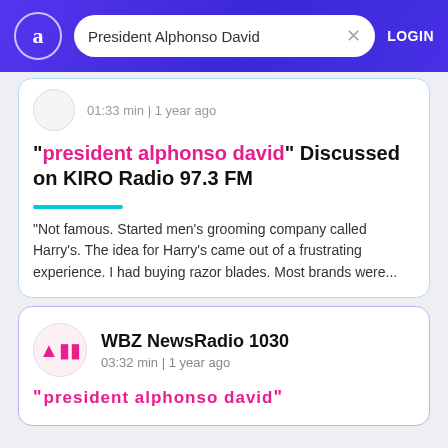President Alphonso David | LOGIN
01:33 min | 1 year ago
"president alphonso david" Discussed on KIRO Radio 97.3 FM
"Not famous. Started men's grooming company called Harry's. The idea for Harry's came out of a frustrating experience. I had buying razor blades. Most brands were...
WBZ NewsRadio 1030
03:32 min | 1 year ago